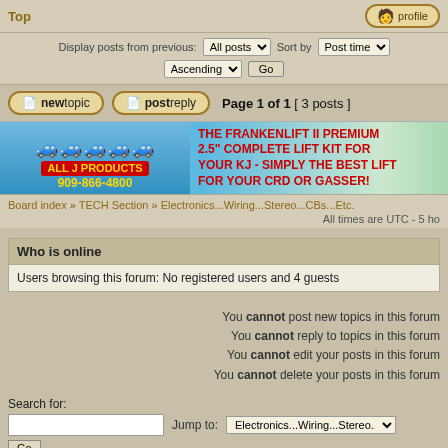Top
profile
Display posts from previous: All posts   Sort by Post time   Ascending   Go
newtopic   postreply   Page 1 of 1 [ 3 posts ]
[Figure (infographic): All J Products advertisement banner for Frankenlift II Premium 2.5 inch Complete Lift Kit for KJ]
Board index » TECH Section » Electronics...Wiring...Stereo...CBs...Etc.
All times are UTC - 5 ho
Who is online
Users browsing this forum: No registered users and 4 guests
You cannot post new topics in this forum
You cannot reply to topics in this forum
You cannot edit your posts in this forum
You cannot delete your posts in this forum
Search for:
Jump to: Electronics...Wiring...Stereo...CBs...Etc.
Go
Powered by phpBB © 2000, 2002, 2005, 2007 phpBB Group. Color scheme by ColorizeIt! Logo by pixeldecals.com
Advertisements by Advertisement Management